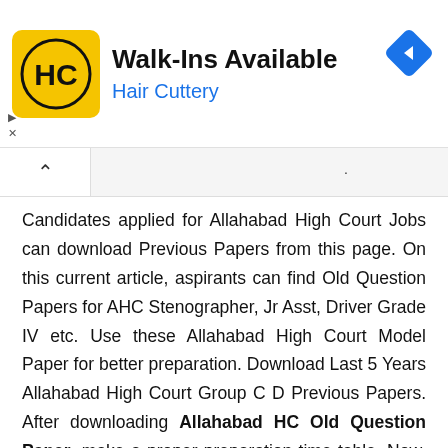[Figure (infographic): Hair Cuttery advertisement banner with HC logo, title 'Walk-Ins Available', subtitle 'Hair Cuttery', and a blue navigation arrow icon on the right.]
Candidates applied for Allahabad High Court Jobs can download Previous Papers from this page. On this current article, aspirants can find Old Question Papers for AHC Stenographer, Jr Asst, Driver Grade IV etc. Use these Allahabad High Court Model Paper for better preparation. Download Last 5 Years Allahabad High Court Group C D Previous Papers. After downloading Allahabad HC Old Question Paper, make a proper preparation time table. Now, divide time equally for each paper. Aspirants may also set their clock and make an honest attempt to complete AHC Old Paper in the stipulated Exam time. By doing like this, you can understand the time-consuming sections and also the sections that are easy to solve.